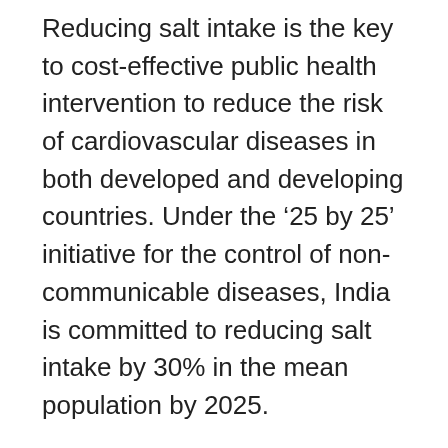Reducing salt intake is the key to cost-effective public health intervention to reduce the risk of cardiovascular diseases in both developed and developing countries. Under the ‘25 by 25’ initiative for the control of non-communicable diseases, India is committed to reducing salt intake by 30% in the mean population by 2025.
However, few educational interventions have been conducted to promote a lower salt diet in a range of settings. The school-based educational interventions to reduce salt intake has been effective for the prevention of